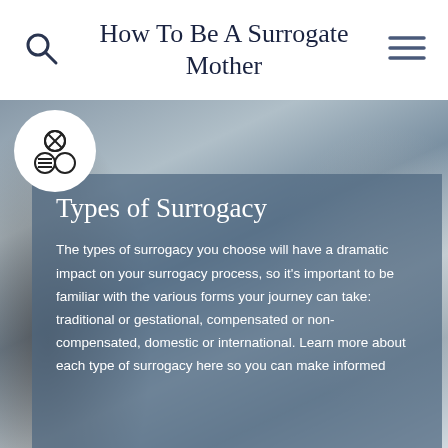How To Be A Surrogate Mother
[Figure (photo): Blurred background photo of a person at a desk, with blue-grey overlay. Decorative website hero image.]
Types of Surrogacy
The types of surrogacy you choose will have a dramatic impact on your surrogacy process, so it's important to be familiar with the various forms your journey can take: traditional or gestational, compensated or non-compensated, domestic or international. Learn more about each type of surrogacy here so you can make informed